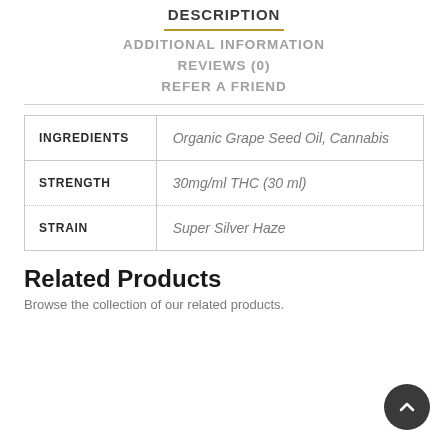DESCRIPTION
ADDITIONAL INFORMATION
REVIEWS (0)
REFER A FRIEND
|  |  |
| --- | --- |
| INGREDIENTS | Organic Grape Seed Oil, Cannabis |
| STRENGTH | 30mg/ml THC (30 ml) |
| STRAIN | Super Silver Haze |
Related Products
Browse the collection of our related products.